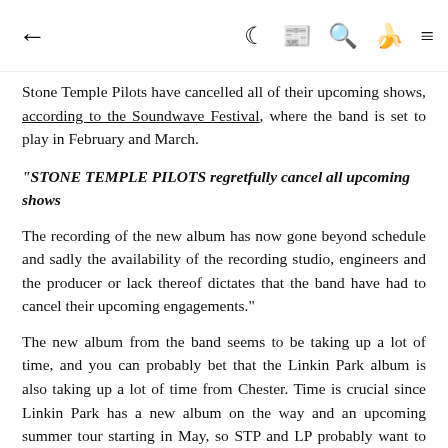← (back arrow) | (moon icon) (news icon) (search icon) (brush icon) (menu icon)
Stone Temple Pilots have cancelled all of their upcoming shows, according to the Soundwave Festival, where the band is set to play in February and March.
"STONE TEMPLE PILOTS regretfully cancel all upcoming shows
The recording of the new album has now gone beyond schedule and sadly the availability of the recording studio, engineers and the producer or lack thereof dictates that the band have had to cancel their upcoming engagements."
The new album from the band seems to be taking up a lot of time, and you can probably bet that the Linkin Park album is also taking up a lot of time from Chester. Time is crucial since Linkin Park has a new album on the way and an upcoming summer tour starting in May, so STP and LP probably want to get both albums completed as soon as possible. The three week STP tour was set to be twelve shows in five countries.
The following shows are CANCELLED: